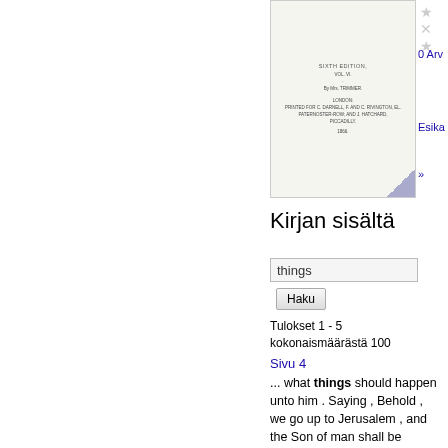[Figure (illustration): Book cover thumbnail showing old printed title page with text including SIXTH EDITION, VOL. VI, By Mrs. TRIMMER, LONDON, with publisher details and date 1866, with a page-curl in the bottom right corner]
0 Arv
Esika
»
Kirjan sisältä
things
Haku
Tulokset 1 - 5 kokonaismäärästä 100
Sivu 4
... what things should happen unto him . Saying , Behold , we go up to Jerusalem , and the Son of man shall be delivered unto the chief priests , and unto the